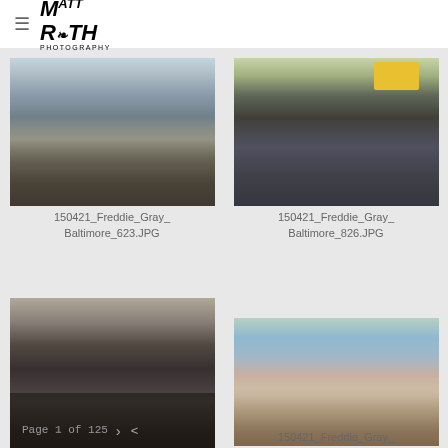≡  MR PHOTOGRAPHY
[Figure (photo): Crowd of people gathered on a street, protest scene related to Freddie Gray, Baltimore]
150421_Freddie_Gray_
Baltimore_623.JPG
[Figure (photo): Group of people marching with Black Lives Matter sign visible in background, Freddie Gray protest in Baltimore]
150421_Freddie_Gray_
Baltimore_826.JPG
[Figure (photo): Close-up crowd scene, people embracing or pressing together during protest]
[Figure (photo): Man with hands raised in the air on a street during Freddie Gray protest, Baltimore]
150421_Freddie_Gray_
Page 1 of 125  >  <